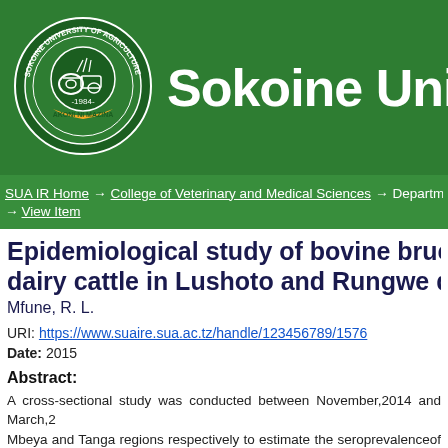Sokoine University (logo)
SUA IR Home → College of Veterinary and Medical Sciences → Department → View Item
Epidemiological study of bovine brucellosis in dairy cattle in Lushoto and Rungwe dist...
Mfune, R. L.
URI: https://www.suaire.sua.ac.tz/handle/123456789/1576
Date: 2015
Abstract:
A cross-sectional study was conducted between November,2014 and March,2... Mbeya and Tanga regions respectively to estimate the seroprevalenceof bovin... and the associated risk factors. Blood samples from 400 animals from Lush... tested for Brucella circulating antibodies using Rose Bengal Plate Test (R... Competitive-enzyme-Linked Immunosorbent Assay (cELISA).Information re... Brucellosis positive smallholders from smallholder cattle...